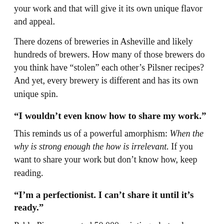your work and that will give it its own unique flavor and appeal.
There dozens of breweries in Asheville and likely hundreds of brewers. How many of those brewers do you think have “stolen” each other’s Pilsner recipes? And yet, every brewery is different and has its own unique spin.
“I wouldn’t even know how to share my work.”
This reminds us of a powerful amorphism: When the why is strong enough the how is irrelevant. If you want to share your work but don’t know how, keep reading.
“I’m a perfectionist. I can’t share it until it’s ready.”
Pablo Picasso created 50,000 paintings, but only about a hundred of them were considered true masterpieces.